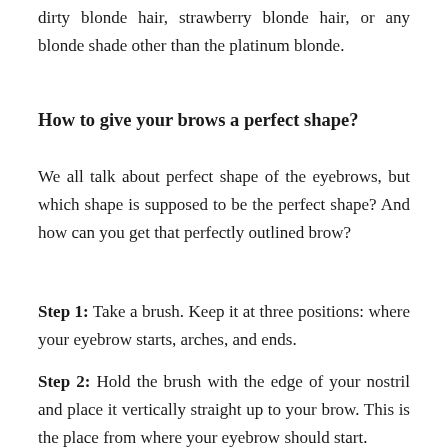dirty blonde hair, strawberry blonde hair, or any blonde shade other than the platinum blonde.
How to give your brows a perfect shape?
We all talk about perfect shape of the eyebrows, but which shape is supposed to be the perfect shape? And how can you get that perfectly outlined brow?
Step 1: Take a brush. Keep it at three positions: where your eyebrow starts, arches, and ends.
Step 2: Hold the brush with the edge of your nostril and place it vertically straight up to your brow. This is the place from where your eyebrow should start.